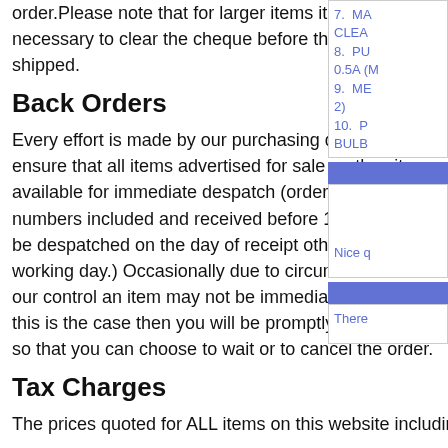order.Please note that for larger items it may be necessary to clear the cheque before the goods are shipped.
Back Orders
Every effort is made by our purchasing department to ensure that all items advertised for sale on the site are available for immediate despatch (orders with credit card numbers included and received before 1pm (UK time) will be despatched on the day of receipt otherwise the next working day.) Occasionally due to circumstances out of our control an item may not be immediately available. If this is the case then you will be promptly notified by email so that you can choose to wait or to cancel the order.
Tax Charges
The prices quoted for ALL items on this website including
7. MA CLEA
8. PU 0.5A (M
9. ME 2)
10. P BULB
Nice q
There